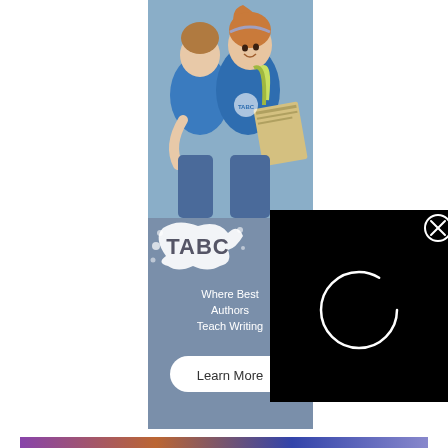[Figure (photo): Two girls wearing blue t-shirts, one smiling and holding books/clipboard, against a blue-grey background. Educational setting.]
[Figure (infographic): TABC logo advertisement banner with blue background. Shows 'TABC' logo with paint splatter, text 'Where Best Authors Teach Writing' and a 'Learn More' button.]
[Figure (screenshot): Black video player overlay with a circular loading spinner (thin white circle) in the center, and an X close button in the top right corner.]